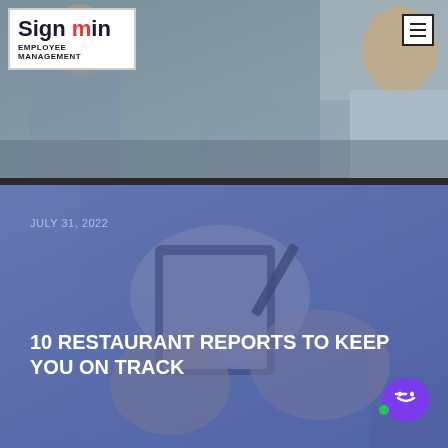[Figure (screenshot): Website header banner showing a person in an office environment with a blurred background. Contains the Hiscrome/Sign In branding box and employee management system navigation.]
Sign in EMPLOYEE MANAGEMENT
[Figure (photo): Close-up photo of hands holding a notepad/tablet with a pen, overlaid with a blue-purple tint. Article card for a blog post dated July 31, 2022.]
JULY 31, 2022
10 RESTAURANT REPORTS TO KEEP YOU ON TRACK